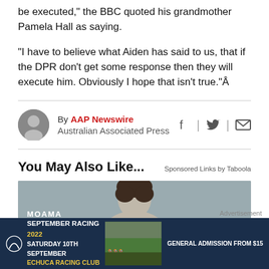be executed," the BBC quoted his grandmother Pamela Hall as saying.
"I have to believe what Aiden has said to us, that if the DPR don't get some response then they will execute him. Obviously I hope that isn't true."Â
By AAP Newswire
Australian Associated Press
You May Also Like...
Sponsored Links by Taboola
[Figure (photo): Head and shoulders photo of a person with dark hair against a grey background]
[Figure (infographic): Advertisement banner for Moama September Racing 2022, Saturday 10th September, Echuca Racing Club, Gates Open 11am, General Admission from $15]
Advertisement